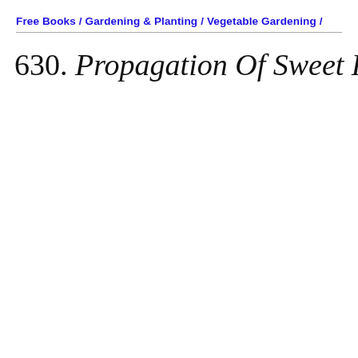Free Books / Gardening & Planting / Vegetable Gardening /
630. Propagation Of Sweet Potato